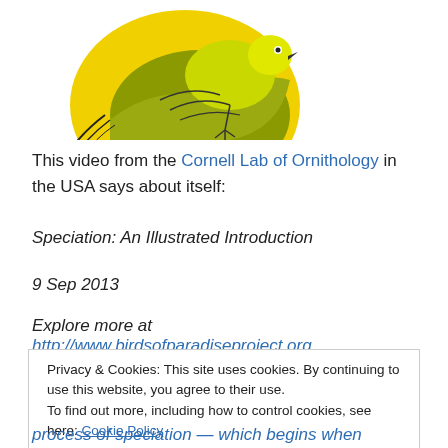[Figure (illustration): Partial view of a stylized bird illustration with yellow and olive-green colors on a white oval background, cropped at the top of the page]
This video from the Cornell Lab of Ornithology in the USA says about itself:
Speciation: An Illustrated Introduction
9 Sep 2013
Explore more at http://www.birdsofparadiseproject.org.
Privacy & Cookies: This site uses cookies. By continuing to use this website, you agree to their use.
To find out more, including how to control cookies, see here: Cookie Policy
process of speciation — which begins when populations